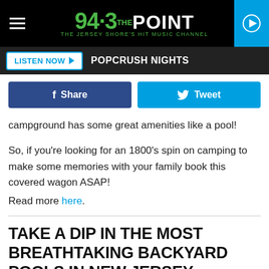[Figure (screenshot): 94.3 The Point radio station logo — green and white text on black background with hamburger menu and blue play button]
LISTEN NOW  POPCRUSH NIGHTS
[Figure (infographic): Facebook Share button (dark blue) and Twitter Tweet button (light blue)]
campground has some great amenities like a pool!
So, if you're looking for an 1800's spin on camping to make some memories with your family book this covered wagon ASAP!
Read more here.
TAKE A DIP IN THE MOST BREATHTAKING BACKYARD POOLS IN NEW JERSEY